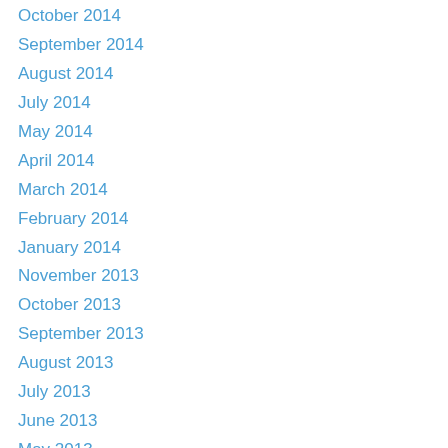October 2014
September 2014
August 2014
July 2014
May 2014
April 2014
March 2014
February 2014
January 2014
November 2013
October 2013
September 2013
August 2013
July 2013
June 2013
May 2013
April 2013
March 2013
February 2013
January 2013